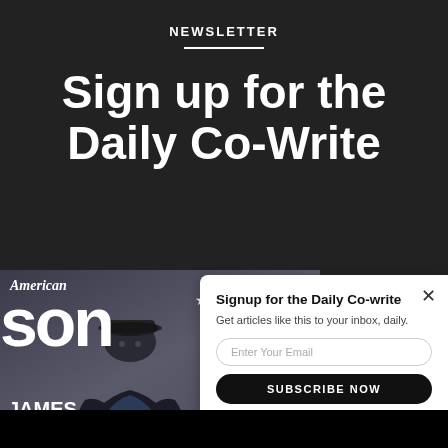NEWSLETTER
Sign up for the Daily Co-Write
[Figure (photo): American Songwriter magazine cover featuring James Taylor, a man wearing a flat cap and jacket, seated. Magazine title text visible along with sidebar text: RU WAINW, TAM IMPAL, JUSTI TRANTER, NATHAN RATEL. Bottom reads JAMES TAYLOR.]
×
Signup for the Daily Co-write
Get articles like this to your inbox, daily.
Enter Your Email
SUBSCRIBE NOW
NO THANKS